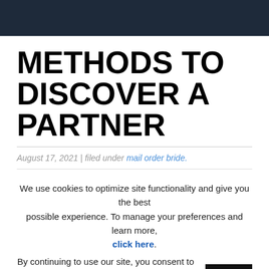METHODS TO DISCOVER A PARTNER
August 17, 2021 | filed under mail order bride.
We use cookies to optimize site functionality and give you the best possible experience. To manage your preferences and learn more, click here. By continuing to use our site, you consent to the use of cookies in according with our policy.